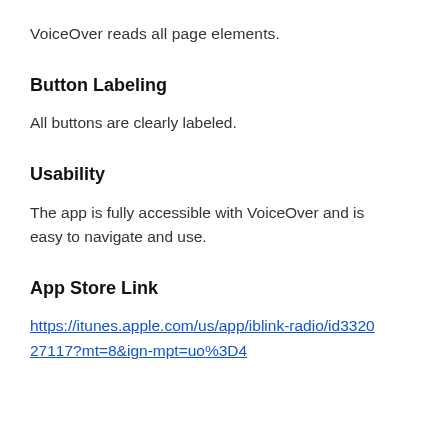VoiceOver reads all page elements.
Button Labeling
All buttons are clearly labeled.
Usability
The app is fully accessible with VoiceOver and is easy to navigate and use.
App Store Link
https://itunes.apple.com/us/app/iblink-radio/id332027117?mt=8&ign-mpt=uo%3D4